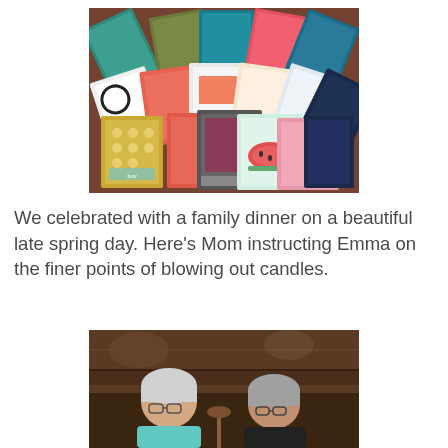[Figure (photo): A fan-shaped spread of colorful handmade greeting cards displayed on a wooden table, featuring various designs with flowers, watermelon, patterns, and decorative elements in bright colors including teal, coral, pink, and yellow.]
We celebrated with a family dinner on a beautiful late spring day.  Here's Mom instructing Emma on the finer points of blowing out candles.
[Figure (photo): Two elderly people sitting at a restaurant table, partially visible, with wood paneling and decorative elements in the background.]